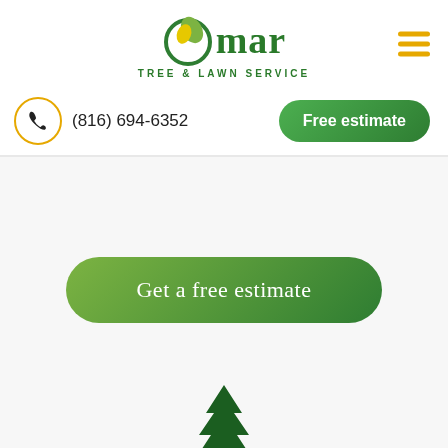[Figure (logo): Omar Tree & Lawn Service logo with stylized green leaf O and company name]
[Figure (other): Hamburger menu icon with three yellow/gold horizontal lines]
(816) 694-6352
Free estimate
Get a free estimate
[Figure (illustration): Green evergreen tree icon at bottom of page]